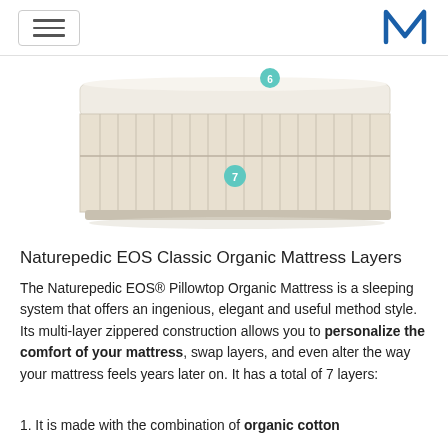[Navigation bar with hamburger menu and M logo]
[Figure (photo): Cross-section diagram of the Naturepedic EOS Classic Organic Mattress showing layered construction with numbered callout circles (6 and 7) indicating specific layers. The mattress has a cream/beige fabric cover with visible quilted layers.]
Naturepedic EOS Classic Organic Mattress Layers
The Naturepedic EOS® Pillowtop Organic Mattress is a sleeping system that offers an ingenious, elegant and useful method style. Its multi-layer zippered construction allows you to personalize the comfort of your mattress, swap layers, and even alter the way your mattress feels years later on. It has a total of 7 layers:
1. It is made with the combination of organic cotton fabric, organic wool batting and a PLA organic...